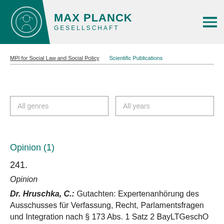[Figure (logo): Max Planck Gesellschaft logo with teal banner, circular medallion, and organization name]
MPI for Social Law and Social Policy   Scientific Publications
All genres
All years
Opinion (1)
241.
Opinion
Dr. Hruschka, C.: Gutachten: Expertenanhörung des Ausschusses für Verfassung, Recht, Parlamentsfragen und Integration nach § 173 Abs. 1 Satz 2 BayLTGeschO zum Thoma, ANKER Einrichtungen in Bayern" (2019), 42